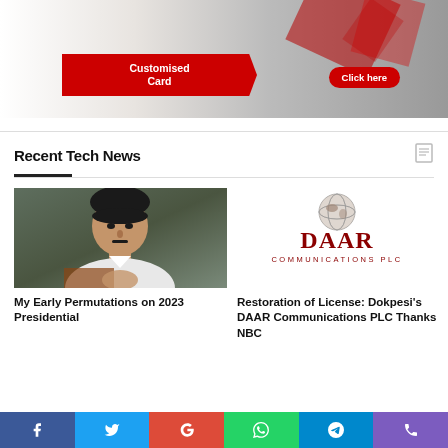[Figure (photo): Advertisement banner with red design elements, 'Customised Card' text and 'Click here' button]
Recent Tech News
[Figure (photo): Portrait photo of a man in white shirt with hands clasped]
My Early Permutations on 2023 Presidential
[Figure (logo): DAAR Communications PLC logo with globe icon]
Restoration of License: Dokpesi's DAAR Communications PLC Thanks NBC